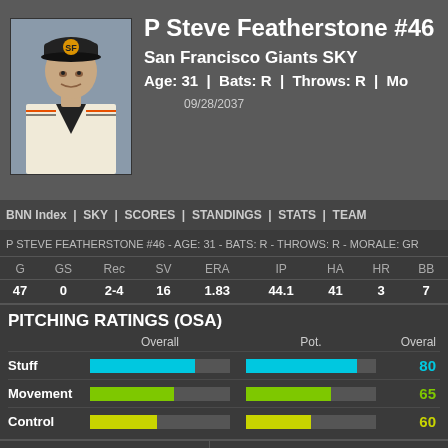P Steve Featherstone #46
San Francisco Giants SKY
Age: 31 | Bats: R | Throws: R | Mo...
09/28/2037
BNN Index | SKY | SCORES | STANDINGS | STATS | TEAM
P STEVE FEATHERSTONE #46 - AGE: 31 - BATS: R - THROWS: R - MORALE: GR
| G | GS | Rec | SV | ERA | IP | HA | HR | BB |
| --- | --- | --- | --- | --- | --- | --- | --- | --- |
| 47 | 0 | 2-4 | 16 | 1.83 | 44.1 | 41 | 3 | 7 |
PITCHING RATINGS (OSA)
[Figure (infographic): Pitching ratings bar chart showing Overall and Potential bars for Stuff (80), Movement (65), Control (60)]
PITCHING RATINGS
| Pitch | Cur. | Pot. |
| --- | --- | --- |
OTHER PITCHING RATINGS
Velocity  95-97 Mp...